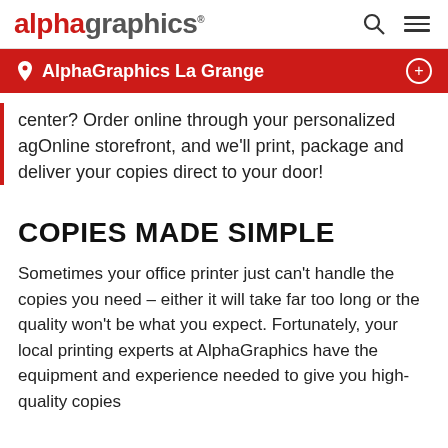alphagraphics
AlphaGraphics La Grange
center? Order online through your personalized agOnline storefront, and we'll print, package and deliver your copies direct to your door!
COPIES MADE SIMPLE
Sometimes your office printer just can't handle the copies you need – either it will take far too long or the quality won't be what you expect. Fortunately, your local printing experts at AlphaGraphics have the equipment and experience needed to give you high-quality copies